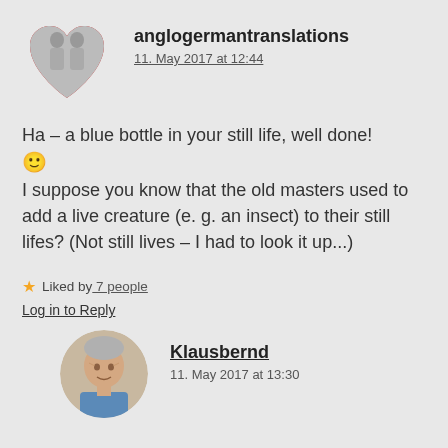[Figure (illustration): Heart-shaped avatar with red heart and grayscale image inside, for user anglogermantranslations]
anglogermantranslations
11. May 2017 at 12:44
Ha – a blue bottle in your still life, well done! 🙂 I suppose you know that the old masters used to add a live creature (e. g. an insect) to their still lifes? (Not still lives – I had to look it up...)
★ Liked by 7 people
Log in to Reply
[Figure (photo): Circular avatar photo of Klausbernd, an older man with gray hair]
Klausbernd
11. May 2017 at 13:30